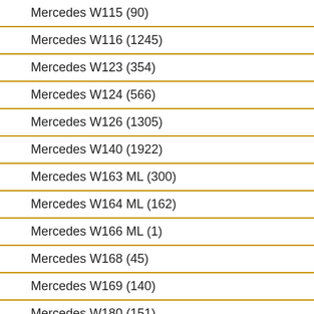Mercedes W115 (90)
Mercedes W116 (1245)
Mercedes W123 (354)
Mercedes W124 (566)
Mercedes W126 (1305)
Mercedes W140 (1922)
Mercedes W163 ML (300)
Mercedes W164 ML (162)
Mercedes W166 ML (1)
Mercedes W168 (45)
Mercedes W169 (140)
Mercedes W180 (151)
Mercedes W189 (2)
[Figure (other): Gray card with text: Mercedes W108 2 (partially visible)]
[Figure (other): Gray card with text: Mercedes W108 M (partially visible)]